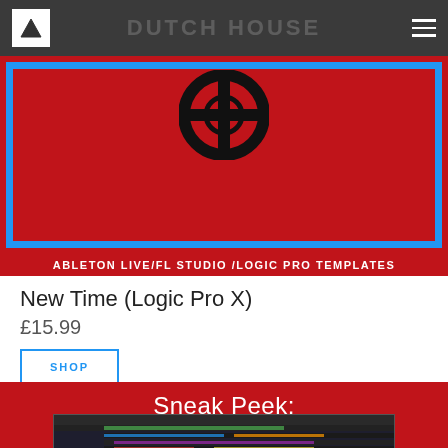DUTCH HOUSE
[Figure (photo): Product image for Dutch House template: red background with blue border frame, target/peace symbol at top, text at bottom reading ABLETON LIVE/FL STUDIO /LOGIC PRO TEMPLATES]
New Time (Logic Pro X)
£15.99
SHOP
[Figure (screenshot): Red banner with Sneak Peek: title and a DAW (Logic Pro X) screenshot showing colorful arrangement tracks]